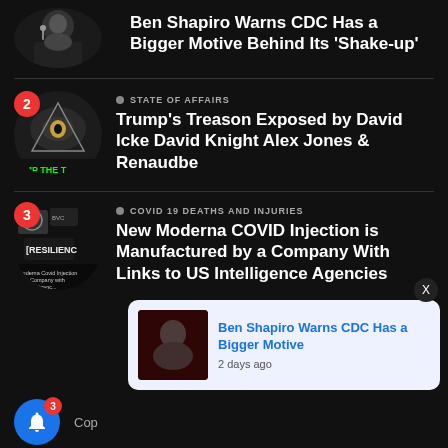Ben Shapiro Warns CDC Has a Bigger Motive Behind Its 'Shake-up' (partial, top)
● STATE OF AFFAIRS
Trump's Treason Exposed by David Icke David Knight Alex Jones & Renaudbe
● COVID 19 DEATHS AND INJURIES
New Moderna COVID Injection is Manufactured by a Company With Links to US Intelligence Agencies
Ben Shapiro Warns CDC Has a Bigger Motive — 2 days ago (notification popup)
Cop…  (Bell icon) 3